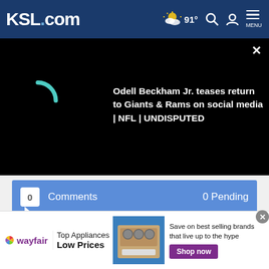KSL.com  91°  [search] [account] MENU
[Figure (screenshot): Video player with loading spinner (teal arc on black background) and video title text: Odell Beckham Jr. teases return to Giants & Rams on social media | NFL | UNDISPUTED. Close (x) button top right.]
0 Comments  0 Pending
Cookie Notice
We use cookies to improve your experience, analyze site traffic, and to personalize content and ads. By continuing to use our site, you consent to our use of cookies. Please visit our Terms of Use and  Privacy Policy for more information
[Figure (screenshot): Wayfair advertisement banner: wayfair logo, Top Appliances Low Prices, appliance image, Save on best selling brands that live up to the hype, Shop now button]